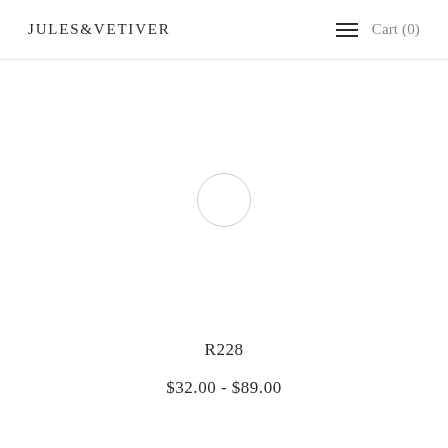Jules & Vetiver  Cart (0)
[Figure (illustration): Loading spinner circle placeholder for product image]
R228
$32.00 - $89.00